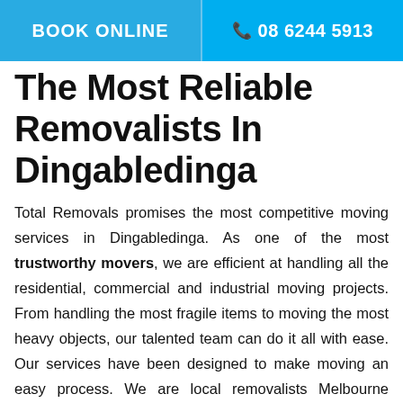BOOK ONLINE | 08 6244 5913
The Most Reliable Removalists In Dingabledinga
Total Removals promises the most competitive moving services in Dingabledinga. As one of the most trustworthy movers, we are efficient at handling all the residential, commercial and industrial moving projects. From handling the most fragile items to moving the most heavy objects, our talented team can do it all with ease. Our services have been designed to make moving an easy process. We are local removalists Melbourne specializing in a variety of tasks such as-
Working in areas with access issues